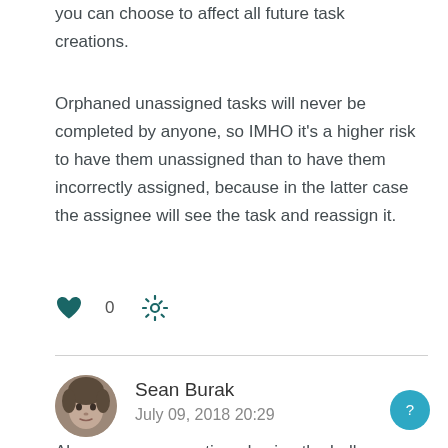you can choose to affect all future task creations.
Orphaned unassigned tasks will never be completed by anyone, so IMHO it's a higher risk to have them unassigned than to have them incorrectly assigned, because in the latter case the assignee will see the task and reassign it.
[Figure (infographic): Heart icon with vote count 0 and gear/settings icon]
Sean Burak
July 09, 2018 20:29
Also, someone mentioned using the bulk...